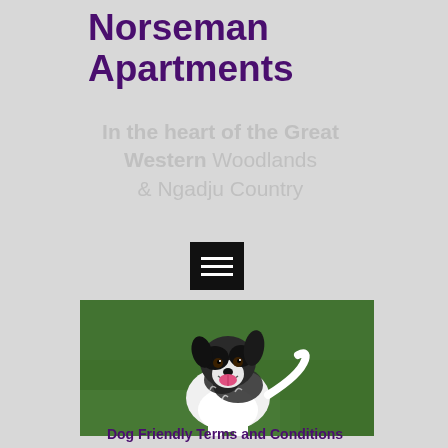Norseman Apartments
In the heart of the Great Western Woodlands & Ngadju Country
[Figure (other): Hamburger menu icon — black square with three horizontal white lines]
[Figure (photo): A black and white fluffy dog sitting on green grass, mouth open and appearing to smile, looking at the camera]
Dog Friendly Terms and Conditions